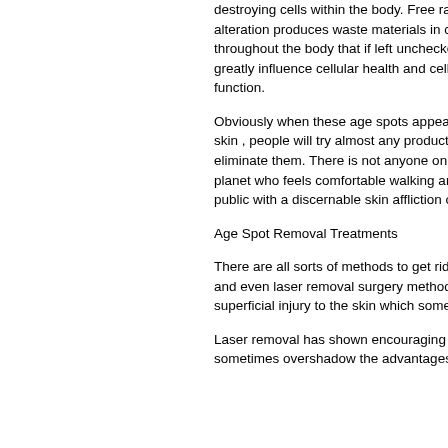destroying cells within the body. Free radical alteration produces waste materials in ce throughout the body that if left unchecke greatly influence cellular health and cellu function.
Obviously when these age spots appear skin , people will try almost any product t eliminate them. There is not anyone on t planet who feels comfortable walking aro public with a discernable skin affliction ov
Age Spot Removal Treatments
There are all sorts of methods to get rid o and even laser removal surgery methods. superficial injury to the skin which somet
Laser removal has shown encouraging r sometimes overshadow the advantages.